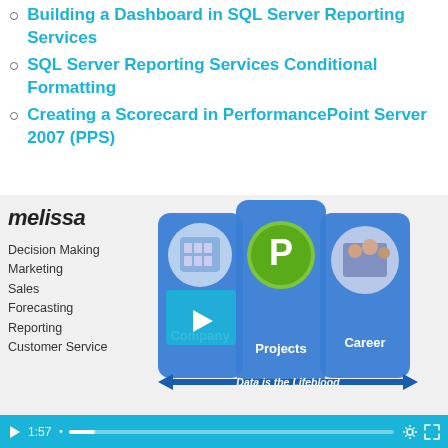Building a Dashboard in SQL Server Reporting Services
SQL Server Reporting Services Conditional Formatting
Creating a Scorecard in PerformancePoint Server 2007 (PPS)
[Figure (screenshot): Video thumbnail showing a Melissa data infographic with three cards labeled Company, Projects, and Career, with text 'Data is the Lifeblood' on an arrow. Left side lists Decision Making, Marketing, Sales, Forecasting, Reporting, Customer Service. A video play button overlay is visible.]
▶  1:57  [progress bar]  [settings] [fullscreen]